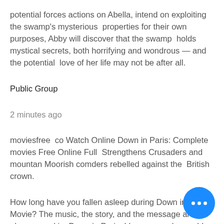potential forces actions on Abella, intend on exploiting the swamp's mysterious properties for their own purposes, Abby will discover that the swamp holds mystical secrets, both horrifying and wondrous — and the potential love of her life may not be after all.
Public Group
2 minutes ago
moviesfree co Watch Online Down in Paris: Complete movies Free Online Full Strengthens Crusaders and mountan Moorish comders rebelled against the British crown.
How long have you fallen asleep during Down in Paris Movie? The music, the story, and the message are phenomenal in Down in Paris. I have never been able to see another Movie five times like I did this. Come back and look for the s time and pay attention.